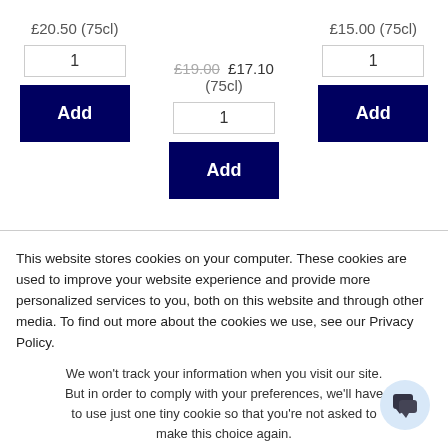£20.50 (75cl)
£19.00  £17.10 (75cl)
£15.00 (75cl)
This website stores cookies on your computer. These cookies are used to improve your website experience and provide more personalized services to you, both on this website and through other media. To find out more about the cookies we use, see our Privacy Policy.
We won't track your information when you visit our site. But in order to comply with your preferences, we'll have to use just one tiny cookie so that you're not asked to make this choice again.